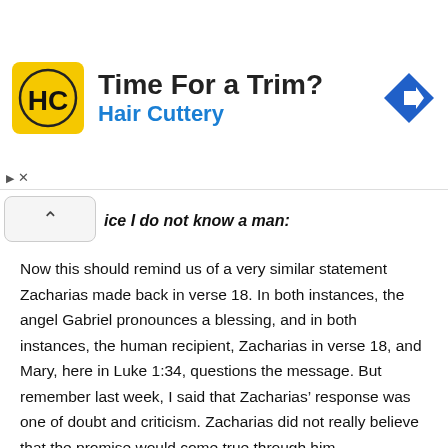[Figure (other): Advertisement banner for Hair Cuttery with HC logo, text 'Time For a Trim? Hair Cuttery', and a blue direction sign icon]
ice I do not know a man:
Now this should remind us of a very similar statement Zacharias made back in verse 18. In both instances, the angel Gabriel pronounces a blessing, and in both instances, the human recipient, Zacharias in verse 18, and Mary, here in Luke 1:34, questions the message. But remember last week, I said that Zacharias' response was one of doubt and criticism. Zacharias did not really believe that the promise would come true through him.
I believe that although Mary asks a question here, she is not asking out of unbelief and doubt as Zacharias was, but out of faith and trust. I get this both out of how the questions are asked, and also how the angel responds. You see, up in Luke 1:18, Zacharias asks, “How shall I know this?” He is saying, “How